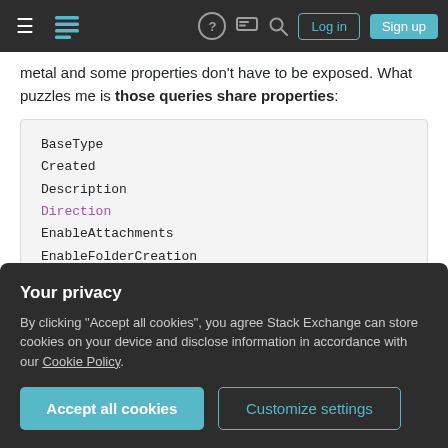Stack Exchange navigation bar with hamburger menu, logo, help, chat, search icons, Log in and Sign up buttons
metal and some properties don't have to be exposed. What puzzles me is those queries share properties:
[Figure (screenshot): Code block showing list of properties: BaseType, Created, Description, Direction (highlighted in purple), EnableAttachments, EnableFolderCreation, EnableMinorVersion, EnableModeration, EnableVersioning (partially visible)]
Your privacy
By clicking "Accept all cookies", you agree Stack Exchange can store cookies on your device and disclose information in accordance with our Cookie Policy.
Accept all cookies   Customize settings